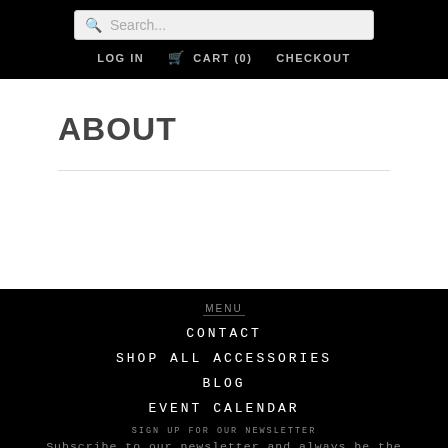Search...
LOG IN   CART (0)   CHECKOUT
ABOUT
MENU
CONTACT
SHOP ALL ACCESSORIES
BLOG
EVENT CALENDAR
SIGN UP FOR OUR NEWSLETTER
Subscribe to our newsletter and always be the